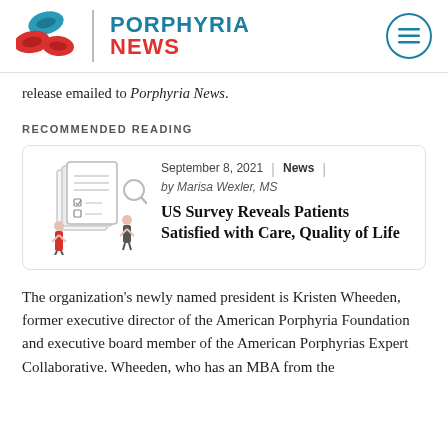[Figure (logo): Porphyria News logo with red blood cell icons and teal/red text]
release emailed to Porphyria News.
RECOMMENDED READING
[Figure (illustration): Illustration of people reviewing documents with checklist]
September 8, 2021 | News | by Marisa Wexler, MS
US Survey Reveals Patients Satisfied with Care, Quality of Life
The organization's newly named president is Kristen Wheeden, former executive director of the American Porphyria Foundation and executive board member of the American Porphyrias Expert Collaborative. Wheeden, who has an MBA from the